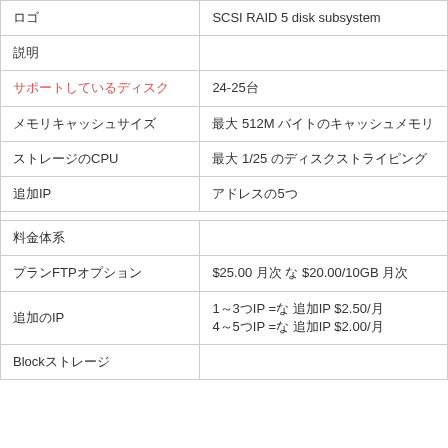| ロゴ | SCSI RAID 5 disk subsystem |
| 説明 |  |
| サポートしているディスク | 24-25台 |
| メモリキャッシュサイズ | 最大 512M バイトのキャッシュメモリ |
| ストレージのCPU | 最大 1/25 のディスクストライピング |
| 追加IP | アドレスの5つ |
| 料金体系 |  |
| プランFTPオプション | $25.00 月次 な $20.00/10GB 月次 |
| 追加のIP | 1～3つIP =な 追加IP $2.50/月
4～5つIP =な 追加IP $2.00/月 |
| Blockストレージ |  |